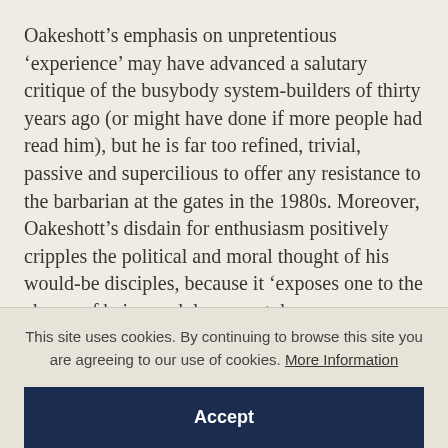Oakeshott's emphasis on unpretentious 'experience' may have advanced a salutary critique of the busybody system-builders of thirty years ago (or might have done if more people had read him), but he is far too refined, trivial, passive and supercilious to offer any resistance to the barbarian at the gates in the 1980s. Moreover, Oakeshott's disdain for enthusiasm positively cripples the political and moral thought of his would-be disciples, because it 'exposes one to the charge of being unduly earnest, hence
This site uses cookies. By continuing to browse this site you are agreeing to our use of cookies. More Information
Accept